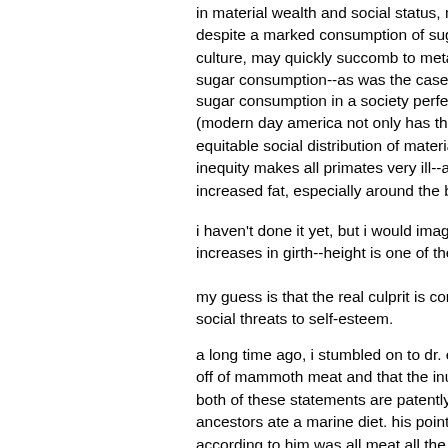in material wealth and social status, may take longer to ma- despite a marked consumption of sugar, while a culture that- culture, may quickly succomb to metabolic disease that nea- sugar consumption--as was the case with the US.
sugar consumption in a society perfectly correlates with tha- (modern day america not only has the highest sugar consum- equitable social distribution of material wealth and social mo- inequity makes all primates very ill--and all primates manifes- increased fat, especially around the belly, heart disease, dia-
i haven't done it yet, but i would imagine that decreases in h- increases in girth--height is one of the most sensitive detect-
my guess is that the real culprit is cortisol, which is released- social threats to self-esteem.
a long time ago, i stumbled on to dr. eades blog, he was talk- off of mammoth meat and that the inuit's traditionally live off- both of these statements are patently false--isotope analysis- ancestors ate a marine diet. his point was that thre is one co- according to him was all meat all the time)